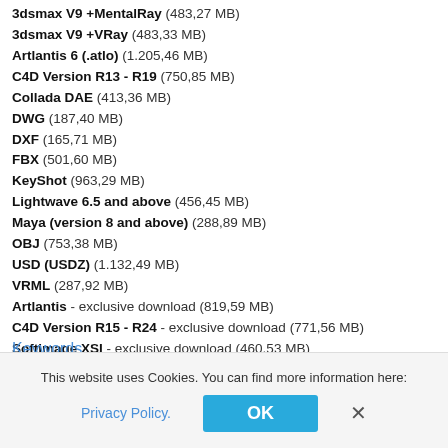3dsmax V9 +MentalRay (483,27 MB)
3dsmax V9 +VRay (483,33 MB)
Artlantis 6 (.atlo) (1.205,46 MB)
C4D Version R13 - R19 (750,85 MB)
Collada DAE (413,36 MB)
DWG (187,40 MB)
DXF (165,71 MB)
FBX (501,60 MB)
KeyShot (963,29 MB)
Lightwave 6.5 and above (456,45 MB)
Maya (version 8 and above) (288,89 MB)
OBJ (753,38 MB)
USD (USDZ) (1.132,49 MB)
VRML (287,92 MB)
Artlantis - exclusive download (819,59 MB)
C4D Version R15 - R24 - exclusive download (771,56 MB)
Softimage XSI - exclusive download (460,53 MB)
Universal 3D - exclusive download (512,86 MB)
Keywords
This website uses Cookies. You can find more information here:
Privacy Policy.
OK